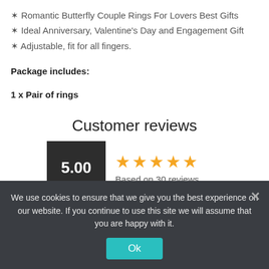✦ Romantic Butterfly Couple Rings For Lovers Best Gifts
✦ Ideal Anniversary, Valentine's Day and Engagement Gift
✦ Adjustable, fit for all fingers.
Package includes:
1 x Pair of rings
Customer reviews
[Figure (infographic): Rating box showing 5.00 score in dark box, five gold stars, and 'Based on 30 reviews' text]
We use cookies to ensure that we give you the best experience on our website. If you continue to use this site we will assume that you are happy with it.